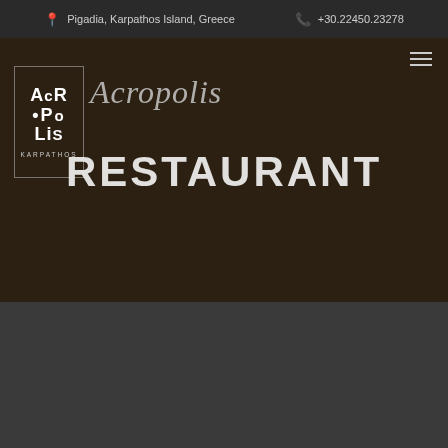Pigadia, Karpathos Island, Greece   +30.22450.23278
[Figure (photo): Hero image of Acropolis Restaurant at night with outdoor seating, warm ambient lighting, showing restaurant exterior with tables and chairs. Overlay shows Acropolis logo (bordered box with stylized ACR-O-PO-LIS text and KARPATHOS below), script text 'Acropolis' and bold heading 'RESTAURANT'. Hamburger menu icon top right.]
[Figure (photo): Partial view of restaurant interior/exterior photo showing a blue-tinted section on the left and wooden furnishings on the right, cropped at bottom of page.]